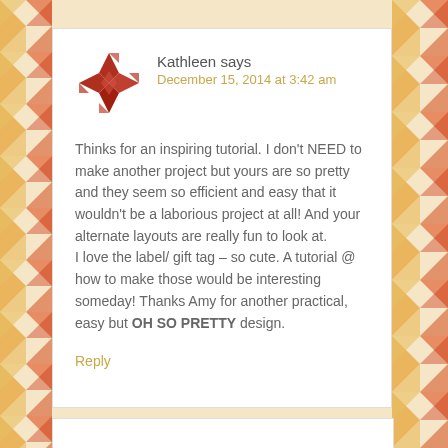[Figure (illustration): Decorative quilted pattern background on left and right sides in orange, yellow, red colors]
Kathleen says
December 15, 2014 at 3:42 am
Thinks for an inspiring tutorial. I don't NEED to make another project but yours are so pretty and they seem so efficient and easy that it wouldn't be a laborious project at all! And your alternate layouts are really fun to look at.
I love the label/ gift tag – so cute. A tutorial @ how to make those would be interesting someday! Thanks Amy for another practical, easy but OH SO PRETTY design.
Reply